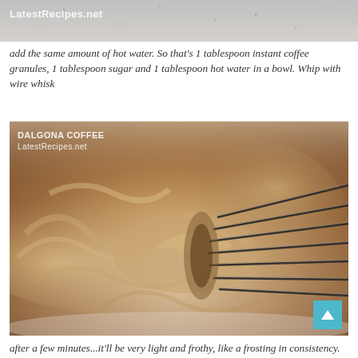[Figure (photo): Partial top photo showing a light gray/white background with LatestRecipes.net watermark]
add the same amount of hot water. So that's 1 tablespoon instant coffee granules, 1 tablespoon sugar and 1 tablespoon hot water in a bowl. Whip with wire whisk
[Figure (photo): Close-up photo of whipped dalgona coffee in a bowl being whipped with a wire whisk. The coffee mixture is a light caramel/brown color and appears thick and frothy. Watermark reads 'DALGONA COFFEE LatestRecipes.net']
after a few minutes...it'll be very light and frothy, like a frosting in consistency.